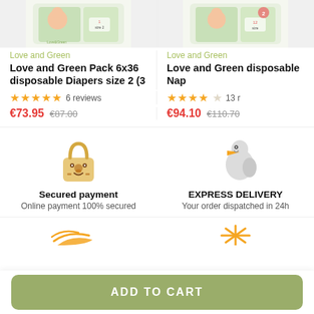[Figure (photo): Product image of Love and Green Pack 6x36 disposable Diapers size 2 (partially cropped at top)]
[Figure (photo): Product image of Love and Green disposable Nap... (partially cropped at top right)]
Love and Green
Love and Green
Love and Green Pack 6x36 disposable Diapers size 2 (3
Love and Green disposable Nap
★★★★★ 6 reviews
★★★★☆ 13 r
€73.95  €87.00
€94.10  €110.70
[Figure (illustration): Cute bear-face padlock icon representing secured payment]
[Figure (illustration): Stork bird icon representing express delivery]
Secured payment
EXPRESS DELIVERY
Online payment 100% secured
Your order dispatched in 24h
[Figure (illustration): Partial illustration at bottom left (golden bird/wing, partially visible)]
[Figure (illustration): Partial illustration at bottom right (golden starburst/sparkle, partially visible)]
ADD TO CART